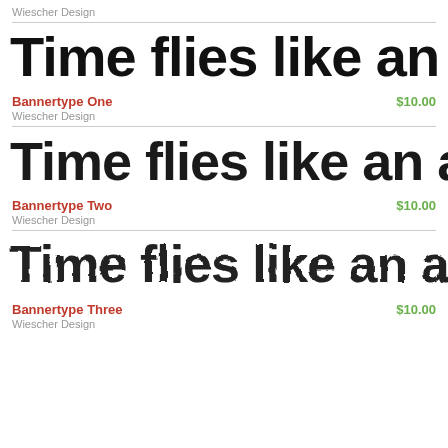Wiescher Design
[Figure (illustration): Large bold font preview text reading 'Time flies like an arrow, b' clipped at right edge, Bannertype One font]
Bannertype One    $10.00
Wiescher Design
[Figure (illustration): Large bold font preview text reading 'Time flies like an arrow, b' clipped at right edge, Bannertype Two font]
Bannertype Two    $10.00
Wiescher Design
[Figure (illustration): Large bold distressed/textured font preview text reading 'Time flies like an arrow, b' clipped at right edge, Bannertype Three font]
Bannertype Three    $10.00
Wiescher Design